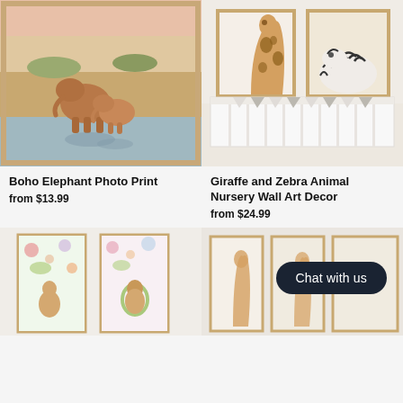[Figure (photo): Framed photo print of two elephants at a watering hole with reflections, warm tones, displayed on a white wall]
Boho Elephant Photo Print
from $13.99
[Figure (photo): Two framed animal prints showing a giraffe and a zebra, displayed above a white crib in a nursery]
Giraffe and Zebra Animal Nursery Wall Art Decor
from $24.99
[Figure (photo): Two framed watercolor prints featuring floral deer illustrations, partially visible at bottom]
[Figure (photo): Framed prints of giraffe illustrations visible at bottom right, with a Chat with us button overlay]
Chat with us